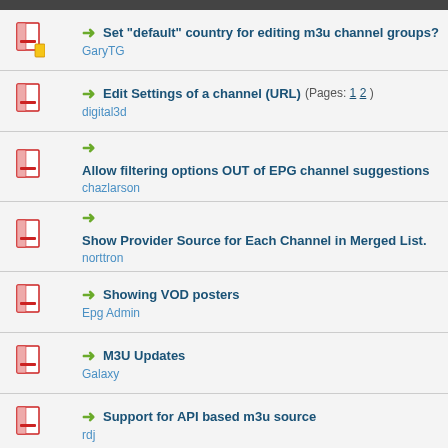Set "default" country for editing m3u channel groups? — GaryTG
Edit Settings of a channel (URL) (Pages: 1 2) — digital3d
Allow filtering options OUT of EPG channel suggestions — chazlarson
Show Provider Source for Each Channel in Merged List. — norttron
Showing VOD posters — Epg Admin
M3U Updates — Galaxy
Support for API based m3u source — rdj
Auto Pilot Mode [duplicate request] — jeremyrem
not able to Merge m3u — matrixebiz